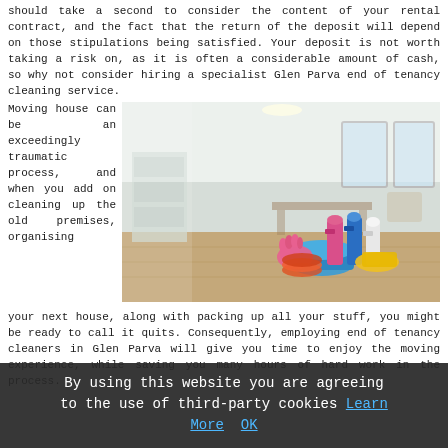should take a second to consider the content of your rental contract, and the fact that the return of the deposit will depend on those stipulations being satisfied. Your deposit is not worth taking a risk on, as it is often a considerable amount of cash, so why not consider hiring a specialist Glen Parva end of tenancy cleaning service.
Moving house can be an exceedingly traumatic process, and when you add on cleaning up the old premises, organising your next house, along with packing up all your stuff, you might be ready to call it quits. Consequently, employing end of tenancy cleaners in Glen Parva will give you time to enjoy the moving experience, while saving you many hours of hard work in the process.
[Figure (photo): Photo of cleaning supplies including spray bottles, pink rubber gloves, and a blue bucket with cleaning products, set against a blurred background of a bright empty room with wooden floors.]
By using this website you are agreeing to the use of third-party cookies Learn More OK